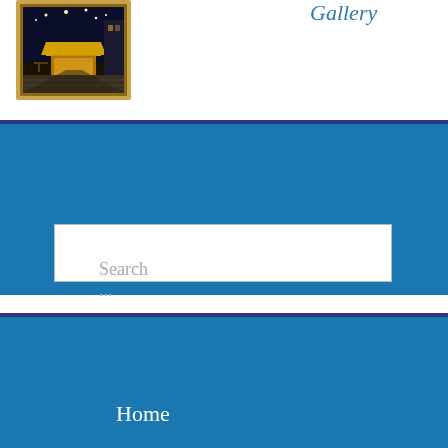Gallery
[Figure (illustration): Painting of Cafe Terrace at Night, framed artwork showing a cafe at night with yellow lights and cobblestone street]
Cafe Terrace at Night
find me
Search ...
Home
32 New Orleans Crescent Maroubra NSW